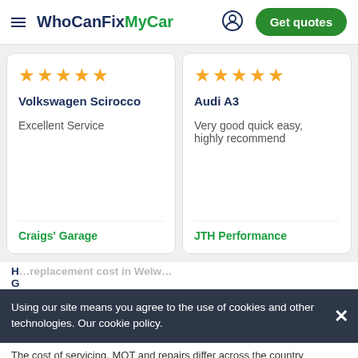WhoCanFixMyCar — Get quotes
Volkswagen Scirocco — Excellent Service — Craigs' Garage — 5 stars
Audi A3 — Very good quick easy, highly recommend — JTH Performance — 5 stars
Using our site means you agree to the use of cookies and other technologies. Our cookie policy.
The cost of servicing, MOT and repairs differ across the country